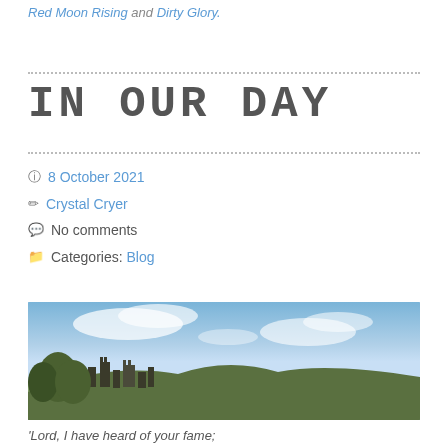Red Moon Rising and Dirty Glory.
IN OUR DAY
8 October 2021
Crystal Cryer
No comments
Categories: Blog
[Figure (photo): Photograph of a castle or historic building on a hilltop against a blue sky with clouds]
'Lord, I have heard of your fame;